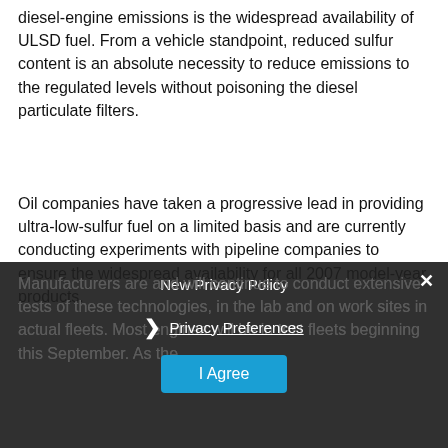diesel-engine emissions is the widespread availability of ULSD fuel. From a vehicle standpoint, reduced sulfur content is an absolute necessity to reduce emissions to the regulated levels without poisoning the diesel particulate filters.
Oil companies have taken a progressive lead in providing ultra-low-sulfur fuel on a limited basis and are currently conducting experiments with pipeline companies to ensure the widespread availability for all 2007 model-year products.
Manufacturers are and will continue to conduct extensive tests of these technologies, in the lab and on work sites in actual fleets. Most engines will be in test fleets beginning this September. As the